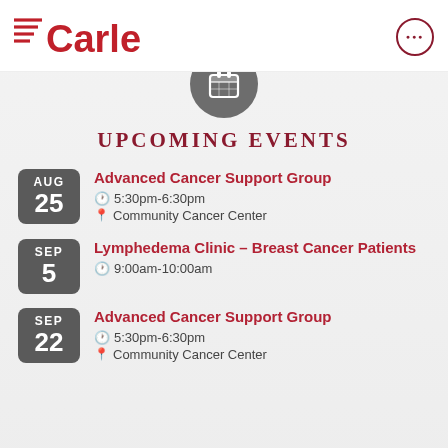[Figure (logo): Carle Health logo with red horizontal lines and 'Carle' text in red]
[Figure (other): Gray circular menu button with three dots]
[Figure (other): Gray circle with white calendar icon]
UPCOMING EVENTS
AUG 25 - Advanced Cancer Support Group - 5:30pm-6:30pm - Community Cancer Center
SEP 5 - Lymphedema Clinic – Breast Cancer Patients - 9:00am-10:00am
SEP 22 - Advanced Cancer Support Group - 5:30pm-6:30pm - Community Cancer Center